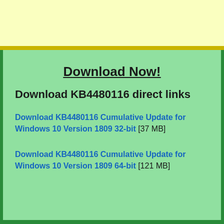Download Now!
Download KB4480116 direct links
Download KB4480116 Cumulative Update for Windows 10 Version 1809 32-bit [37 MB]
Download KB4480116 Cumulative Update for Windows 10 Version 1809 64-bit [121 MB]